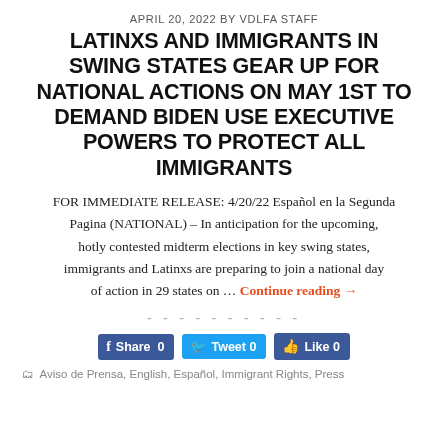APRIL 20, 2022 BY VDLFA STAFF
LATINXS AND IMMIGRANTS IN SWING STATES GEAR UP FOR NATIONAL ACTIONS ON MAY 1ST TO DEMAND BIDEN USE EXECUTIVE POWERS TO PROTECT ALL IMMIGRANTS
FOR IMMEDIATE RELEASE: 4/20/22 Español en la Segunda Pagina (NATIONAL) – In anticipation for the upcoming, hotly contested midterm elections in key swing states, immigrants and Latinxs are preparing to join a national day of action in 29 states on … Continue reading →
- - - - - - - - - -
[Figure (other): Social sharing buttons: Share 0, Tweet 0, Like 0]
Aviso de Prensa, English, Español, Immigrant Rights, Press